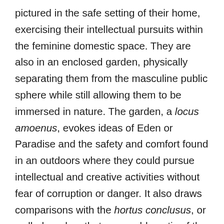pictured in the safe setting of their home, exercising their intellectual pursuits within the feminine domestic space. They are also in an enclosed garden, physically separating them from the masculine public sphere while still allowing them to be immersed in nature. The garden, a locus amoenus, evokes ideas of Eden or Paradise and the safety and comfort found in an outdoors where they could pursue intellectual and creative activities without fear of corruption or danger. It also draws comparisons with the hortus conclusus, or walled garden, that was emblematic of the Virgin Mary. First evoked in the Song of Songs, the enclosed garden signified the Virgin's chastity and the impenetrability of her body. By placing her sisters in the enclosed garden, Sofonisba was associating her sisters with the same virginal status and not only physically representing their